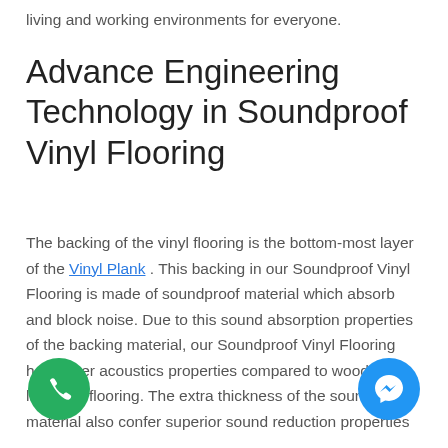living and working environments for everyone.
Advance Engineering Technology in Soundproof Vinyl Flooring
The backing of the vinyl flooring is the bottom-most layer of the Vinyl Plank . This backing in our Soundproof Vinyl Flooring is made of soundproof material which absorb and block noise. Due to this sound absorption properties of the backing material, our Soundproof Vinyl Flooring has better acoustics properties compared to wood or laminate flooring. The extra thickness of the soundproof material also confer superior sound reduction properties